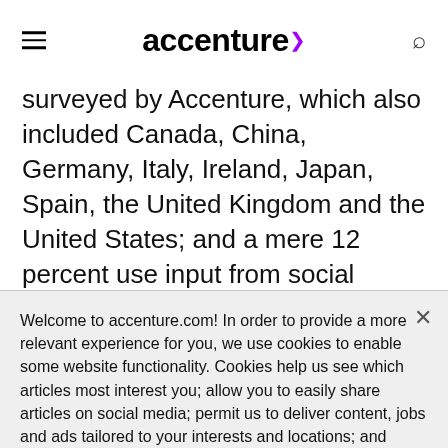accenture
surveyed by Accenture, which also included Canada, China, Germany, Italy, Ireland, Japan, Spain, the United Kingdom and the United States; and a mere 12 percent use input from social media channels—again the
Welcome to accenture.com! In order to provide a more relevant experience for you, we use cookies to enable some website functionality. Cookies help us see which articles most interest you; allow you to easily share articles on social media; permit us to deliver content, jobs and ads tailored to your interests and locations; and provide many other site benefits. For more information, please review our Cookies Policy and Privacy Statement.
Cookie Settings